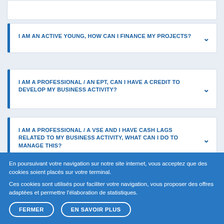I AM AN ACTIVE YOUNG, HOW CAN I FINANCE MY PROJECTS?
I AM A PROFESSIONAL / AN EPT, CAN I HAVE A CREDIT TO DEVELOP MY BUSINESS ACTIVITY?
I AM A PROFESSIONAL / A VSE AND I HAVE CASH LAGS RELATED TO MY BUSINESS ACTIVITY, WHAT CAN I DO TO MANAGE THIS?
I HAVE A CAR LOAN, SHOULD I PAY OFF MY CREDIT IF I SELL MY
En poursuivant votre navigation sur notre site internet, vous acceptez que des cookies soient placés sur votre terminal.
Ces cookies sont utilisés pour faciliter votre navigation, vous proposer des offres adaptées et permettre l'élaboration de statistiques.
FERMER
EN SAVOIR PLUS